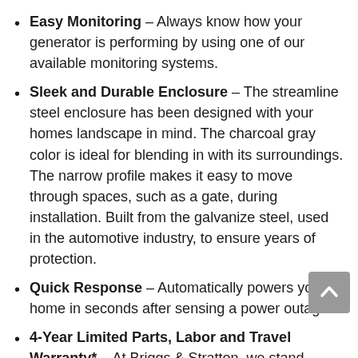Easy Monitoring – Always know how your generator is performing by using one of our available monitoring systems.
Sleek and Durable Enclosure – The streamline steel enclosure has been designed with your homes landscape in mind. The charcoal gray color is ideal for blending in with its surroundings. The narrow profile makes it easy to move through spaces, such as a gate, during installation. Built from the galvanize steel, used in the automotive industry, to ensure years of protection.
Quick Response – Automatically powers your home in seconds after sensing a power outage.
4-Year Limited Parts, Labor and Travel Warranty* – At Briggs & Stratton, we stand